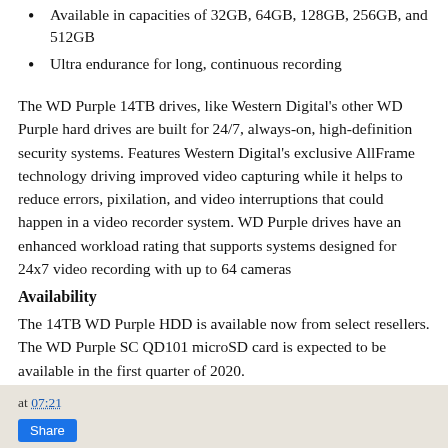Available in capacities of 32GB, 64GB, 128GB, 256GB, and 512GB
Ultra endurance for long, continuous recording
The WD Purple 14TB drives, like Western Digital's other WD Purple hard drives are built for 24/7, always-on, high-definition security systems. Features Western Digital's exclusive AllFrame technology driving improved video capturing while it helps to reduce errors, pixilation, and video interruptions that could happen in a video recorder system. WD Purple drives have an enhanced workload rating that supports systems designed for 24x7 video recording with up to 64 cameras
Availability
The 14TB WD Purple HDD is available now from select resellers. The WD Purple SC QD101 microSD card is expected to be available in the first quarter of 2020.
at 07:21